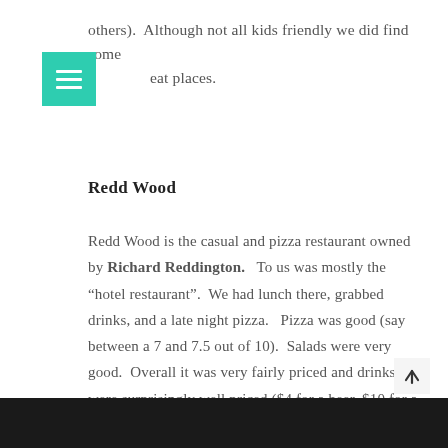others).  Although not all kids friendly we did find some great places.
Redd Wood
Redd Wood is the casual and pizza restaurant owned by Richard Reddington.   To us was mostly the “hotel restaurant”.  We had lunch there, grabbed drinks, and a late night pizza.   Pizza was good (say between a 7 and 7.5 out of 10).  Salads were very good.  Overall it was very fairly priced and drinks were surprisingly well priced ($4 for a beer, $10 for a cocktail).
[Figure (photo): Dark photo strip at the bottom of the page]